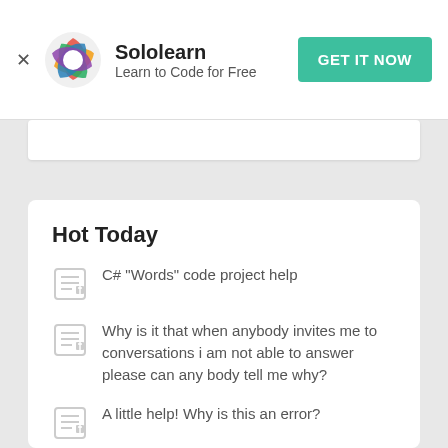Sololearn — Learn to Code for Free — GET IT NOW
Hot Today
C# "Words" code project help
Why is it that when anybody invites me to conversations i am not able to answer please can any body tell me why?
A little help! Why is this an error?
Python Task... Jungle Camping
Calculate tip 20%, the bill=50, could you help me to wright the code
Why does code repo 9.2 on HTML needs me to buy a...